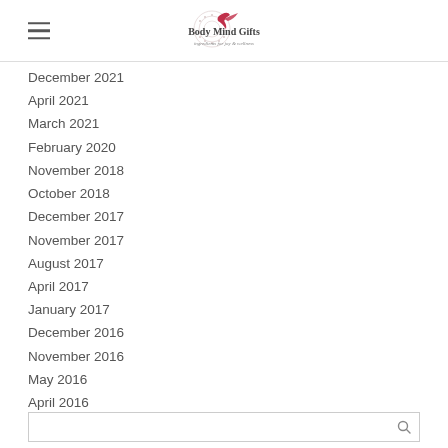Body Mind Gifts — ingredients for joy & wellness
December 2021
April 2021
March 2021
February 2020
November 2018
October 2018
December 2017
November 2017
August 2017
April 2017
January 2017
December 2016
November 2016
May 2016
April 2016